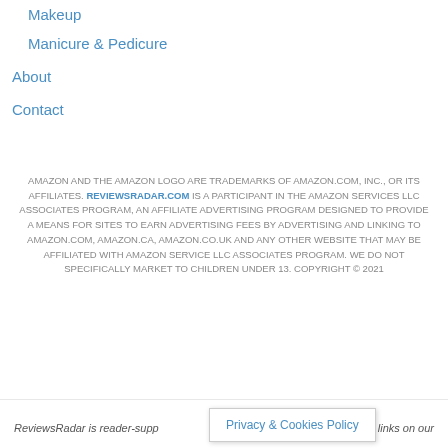Makeup
Manicure & Pedicure
About
Contact
AMAZON AND THE AMAZON LOGO ARE TRADEMARKS OF AMAZON.COM, INC., OR ITS AFFILIATES. REVIEWSRADAR.COM IS A PARTICIPANT IN THE AMAZON SERVICES LLC ASSOCIATES PROGRAM, AN AFFILIATE ADVERTISING PROGRAM DESIGNED TO PROVIDE A MEANS FOR SITES TO EARN ADVERTISING FEES BY ADVERTISING AND LINKING TO AMAZON.COM, AMAZON.CA, AMAZON.CO.UK AND ANY OTHER WEBSITE THAT MAY BE AFFILIATED WITH AMAZON SERVICE LLC ASSOCIATES PROGRAM. WE DO NOT SPECIFICALLY MARKET TO CHILDREN UNDER 13. COPYRIGHT © 2021
ReviewsRadar is reader-supp... gh links on our site